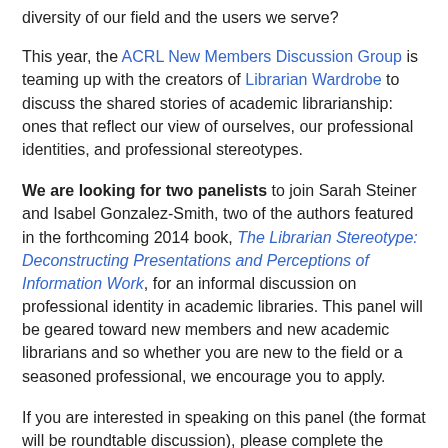diversity of our field and the users we serve?
This year, the ACRL New Members Discussion Group is teaming up with the creators of Librarian Wardrobe to discuss the shared stories of academic librarianship: ones that reflect our view of ourselves, our professional identities, and professional stereotypes.
We are looking for two panelists to join Sarah Steiner and Isabel Gonzalez-Smith, two of the authors featured in the forthcoming 2014 book, The Librarian Stereotype: Deconstructing Presentations and Perceptions of Information Work, for an informal discussion on professional identity in academic libraries. This panel will be geared toward new members and new academic librarians and so whether you are new to the field or a seasoned professional, we encourage you to apply.
If you are interested in speaking on this panel (the format will be roundtable discussion), please complete the submission form available at: http://bit.ly/nmdgan14